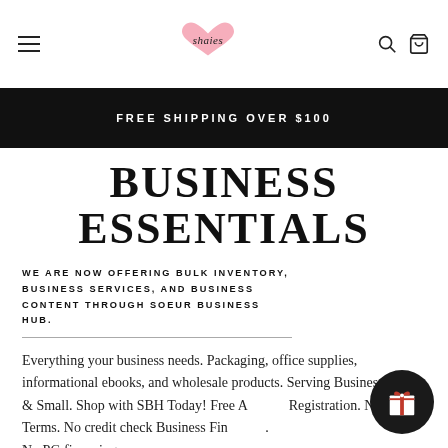Shaies — navigation header with hamburger menu, logo, search and cart icons
FREE SHIPPING OVER $100
BUSINESS ESSENTIALS
WE ARE NOW OFFERING BULK INVENTORY, BUSINESS SERVICES, AND BUSINESS CONTENT THROUGH SOEUR BUSINESS HUB.
Everything your business needs. Packaging, office supplies, informational ebooks, and wholesale products. Serving Businesses, Big & Small. Shop with SBH Today! Free Account Registration. Net30 Terms. No credit check Business Financing. No PG financing.